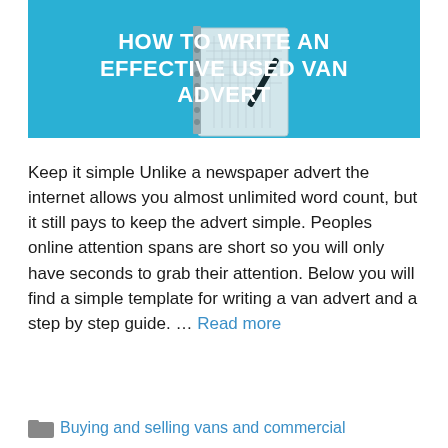[Figure (illustration): Blue banner image with white bold text reading 'HOW TO WRITE AN EFFECTIVE USED VAN ADVERT' overlaid on a teal/cyan background with a notebook and pen visible]
Keep it simple Unlike a newspaper advert the internet allows you almost unlimited word count, but it still pays to keep the advert simple. Peoples online attention spans are short so you will only have seconds to grab their attention. Below you will find a simple template for writing a van advert and a step by step guide. … Read more
Buying and selling vans and commercial